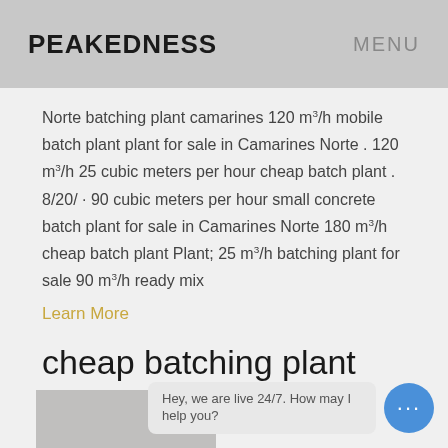PEAKEDNESS   MENU
Norte batching plant camarines 120 m³/h mobile batch plant plant for sale in Camarines Norte . 120 m³/h 25 cubic meters per hour cheap batch plant . 8/20/ · 90 cubic meters per hour small concrete batch plant for sale in Camarines Norte 180 m³/h cheap batch plant Plant; 25 m³/h batching plant for sale 90 m³/h ready mix
Learn More
cheap batching plant Philippines
Hey, we are live 24/7. How may I help you?